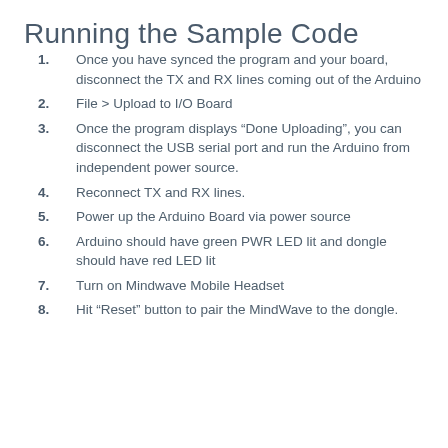Running the Sample Code
Once you have synced the program and your board, disconnect the TX and RX lines coming out of the Arduino
File > Upload to I/O Board
Once the program displays “Done Uploading”, you can disconnect the USB serial port and run the Arduino from independent power source.
Reconnect TX and RX lines.
Power up the Arduino Board via power source
Arduino should have green PWR LED lit and dongle should have red LED lit
Turn on Mindwave Mobile Headset
Hit “Reset” button to pair the MindWave to the dongle.